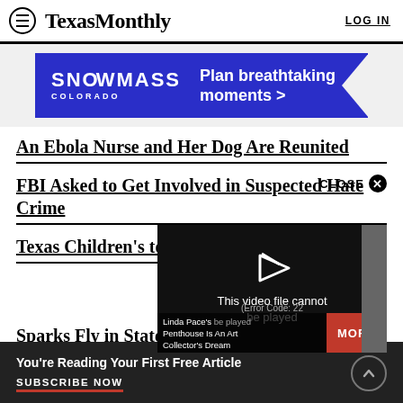TexasMonthly | LOG IN
[Figure (other): Snowmass Colorado advertisement banner: 'SNOWMASS COLORADO — Plan breathtaking moments >']
An Ebola Nurse and Her Dog Are Reunited
FBI Asked to Get Involved in Suspected Hate Crime
Texas Children's to Tes
Sparks Fly in State Rep
[Figure (screenshot): Video popup with error: 'This video file cannot be played (Error Code: 22)' with MORE button and label 'Linda Pace's Penthouse Is An Art Collector's Dream']
You're Reading Your First Free Article — SUBSCRIBE NOW